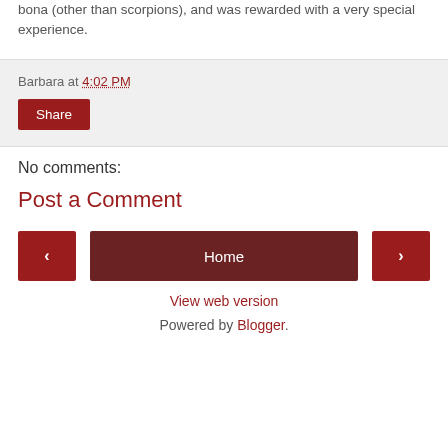bona (other than scorpions), and was rewarded with a very special experience.
Barbara at 4:02 PM
Share
No comments:
Post a Comment
< Home > View web version Powered by Blogger.